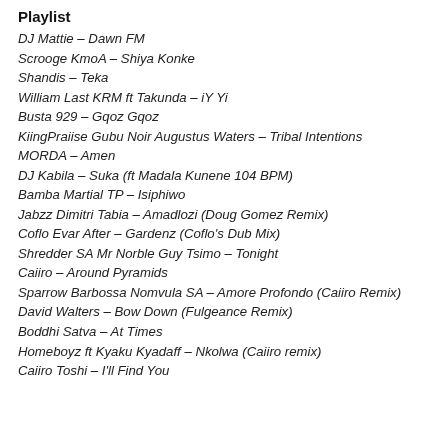Playlist
DJ Mattie – Dawn FM
Scrooge KmoA – Shiya Konke
Shandis – Teka
William Last KRM ft Takunda – iY Yi
Busta 929 – Gqoz Gqoz
KiingPraiise Gubu Noir Augustus Waters – Tribal Intentions
MORDA – Amen
DJ Kabila – Suka (ft Madala Kunene 104 BPM)
Bamba Martial TP – Isiphiwo
Jabzz Dimitri Tabia – Amadlozi (Doug Gomez Remix)
Coflo Evar After – Gardenz (Coflo's Dub Mix)
Shredder SA Mr Norble Guy Tsimo – Tonight
Caiiro – Around Pyramids
Sparrow Barbossa Nomvula SA – Amore Profondo (Caiiro Remix)
David Walters – Bow Down (Fulgeance Remix)
Boddhi Satva – At Times
Homeboyz ft Kyaku Kyadaff – Nkolwa (Caiiro remix)
Caiiro Toshi – I'll Find You